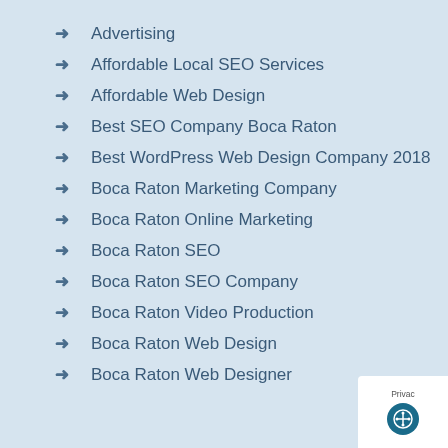Advertising
Affordable Local SEO Services
Affordable Web Design
Best SEO Company Boca Raton
Best WordPress Web Design Company 2018
Boca Raton Marketing Company
Boca Raton Online Marketing
Boca Raton SEO
Boca Raton SEO Company
Boca Raton Video Production
Boca Raton Web Design
Boca Raton Web Designer